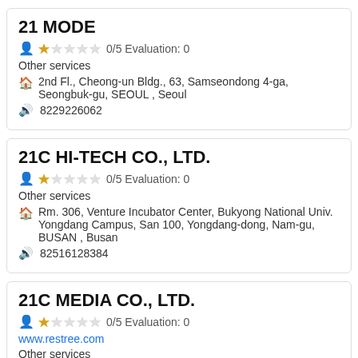21 MODE
0/5 Evaluation: 0
Other services
2nd Fl., Cheong-un Bldg., 63, Samseondong 4-ga, Seongbuk-gu, SEOUL , Seoul
8229226062
21C HI-TECH CO., LTD.
0/5 Evaluation: 0
Other services
Rm. 306, Venture Incubator Center, Bukyong National Univ. Yongdang Campus, San 100, Yongdang-dong, Nam-gu, BUSAN , Busan
82516128384
21C MEDIA CO., LTD.
0/5 Evaluation: 0
www.restree.com
Other services
B1, 83-10, Seohyeon-dong, Bundang-gu, Seongnam-si, GYEONGGI-DO ,